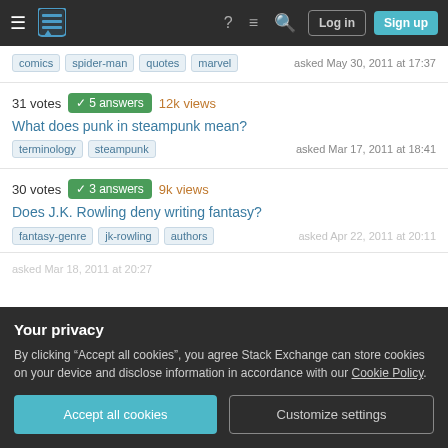Navigation bar with hamburger menu, Stack Exchange logo, help icon, chat icon, search icon, Log in and Sign up buttons
Tags: comics, spider-man, quotes, marvel | asked May 30, 2011 at 17:37
31 votes | 5 answers | 12k views | What does punk in steampunk mean? | Tags: terminology, steampunk | asked Mar 17, 2011 at 18:41
30 votes | 3 answers | 9k views | Does J.K. Rowling deny writing fantasy? | Tags: fantasy-genre, jk-rowling, authors | asked Apr 22, 2011 at 20:11
Your privacy
By clicking "Accept all cookies", you agree Stack Exchange can store cookies on your device and disclose information in accordance with our Cookie Policy.
Accept all cookies | Customize settings